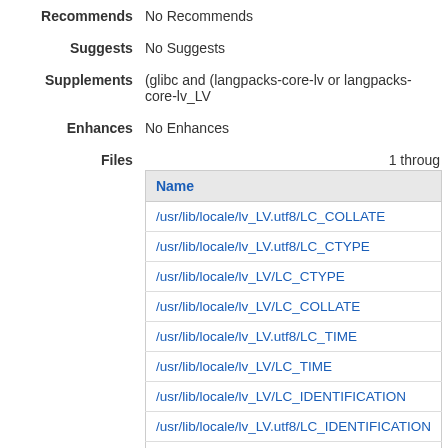| Label | Value |
| --- | --- |
| Recommends | No Recommends |
| Suggests | No Suggests |
| Supplements | (glibc and (langpacks-core-lv or langpacks-core-lv_LV... |
| Enhances | No Enhances |
| Files | 1 through... |
| Name |
| --- |
| /usr/lib/locale/lv_LV.utf8/LC_COLLATE |
| /usr/lib/locale/lv_LV.utf8/LC_CTYPE |
| /usr/lib/locale/lv_LV/LC_CTYPE |
| /usr/lib/locale/lv_LV/LC_COLLATE |
| /usr/lib/locale/lv_LV.utf8/LC_TIME |
| /usr/lib/locale/lv_LV/LC_TIME |
| /usr/lib/locale/lv_LV/LC_IDENTIFICATION |
| /usr/lib/locale/lv_LV.utf8/LC_IDENTIFICATION |
| /usr/lib/locale/lv_LV/LC_MONETARY |
| /usr/lib/locale/lv_LV.utf8/LC_MONETARY |